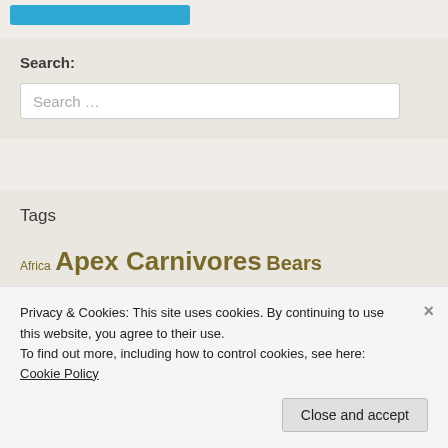[Figure (other): Blue button/bar at top of page]
Search:
Search ...
Tags
Africa Apex Carnivores Bears Behavior Biodiversity Biology Carbon dioxide Carnivores Climate change
Privacy & Cookies: This site uses cookies. By continuing to use this website, you agree to their use.
To find out more, including how to control cookies, see here: Cookie Policy
Close and accept